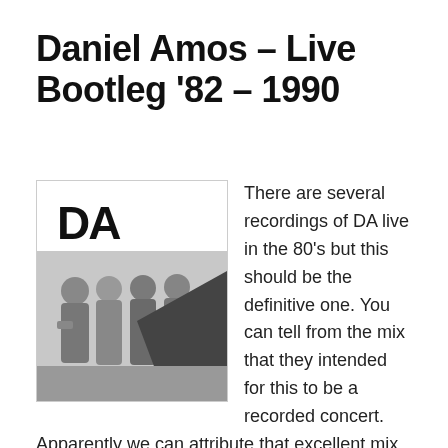Daniel Amos – Live Bootleg '82 – 1990
[Figure (photo): Black and white album cover for DA Live Bootleg '82 showing four band members standing together with 'DA' in large letters and 'LIVE BOOTLEG-'82' text below]
There are several recordings of DA live in the 80's but this should be the definitive one. You can tell from the mix that they intended for this to be a recorded concert. Apparently we can attribute that excellent mix to Bruce Brown